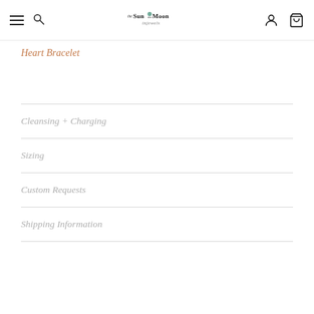The Sun the Moon Injewels - navigation bar
Heart Bracelet
Cleansing + Charging
Sizing
Custom Requests
Shipping Information